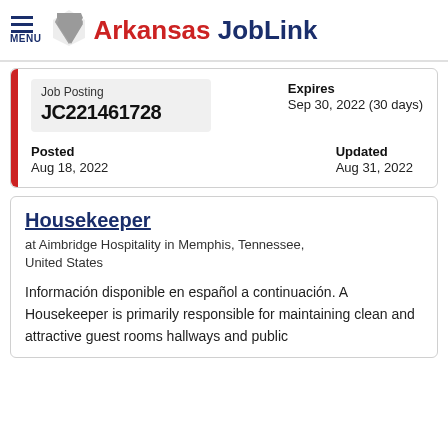MENU | Arkansas JobLink
| Job Posting | Expires |
| --- | --- |
| JC221461728 | Sep 30, 2022 (30 days) |
Posted: Aug 18, 2022 | Updated: Aug 31, 2022
Housekeeper
at Aimbridge Hospitality in Memphis, Tennessee, United States
Información disponible en español a continuación. A Housekeeper is primarily responsible for maintaining clean and attractive guest rooms hallways and public